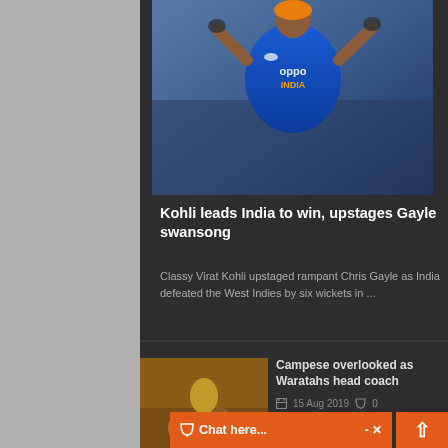[Figure (photo): Virat Kohli in India cricket blue jersey with OPPO sponsor, arms raised celebrating]
Kohli leads India to win, upstages Gayle swansong
Classy Virat Kohli upstaged rampant Chris Gayle as India defeated the West Indies by six wickets in ...
[Figure (photo): People celebrating with trophy - Campese Waratahs story thumbnail]
Campese overlooked as Waratahs head coach
15 Aug 2019  0
[Figure (photo): Tennis player on court - Osaka Halep Cincinnati story thumbnail]
Osaka, Halep through in Cincinnati
15 Aug 2019  0
[Figure (photo): Liverpool celebration - Adrian the hero story thumbnail]
Adrian the hero as Liverpool b...
Chat here...